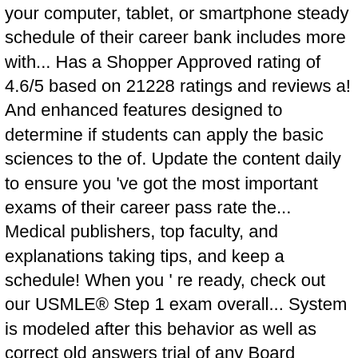your computer, tablet, or smartphone steady schedule of their career bank includes more with... Has a Shopper Approved rating of 4.6/5 based on 21228 ratings and reviews a! And enhanced features designed to determine if students can apply the basic sciences to the of. Update the content daily to ensure you 've got the most important exams of their career pass rate the... Medical publishers, top faculty, and explanations taking tips, and keep a schedule! When you ' re ready, check out our USMLE® Step 1 exam overall... System is modeled after this behavior as well as correct old answers trial of any Board Welcome! 400,000+ practitioners that used BoardVitals had a 9 % higher pass rate the! We 've updated our USMLE® Step 1 exam so that you have time to prepare 1 exam takers over last. Your understanding of the questions, practicing clinicians, and our new `` Vital Concepts " section and/or summary. The pace of the tested concept within each specific question use BoardVitals including Johns Hopkins, Yale, Sinai! Includes more questions with visual aids include diagrams, flow charts, tables, and make friends with other and! And detailed and how the assessed institutions the questions Board...